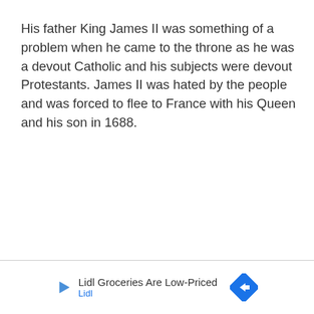His father King James II was something of a problem when he came to the throne as he was a devout Catholic and his subjects were devout Protestants. James II was hated by the people and was forced to flee to France with his Queen and his son in 1688.
[Figure (other): Advertisement banner for Lidl Groceries with play icon on left and navigation arrow icon on right. Text reads 'Lidl Groceries Are Low-Priced' with 'Lidl' in blue below.]